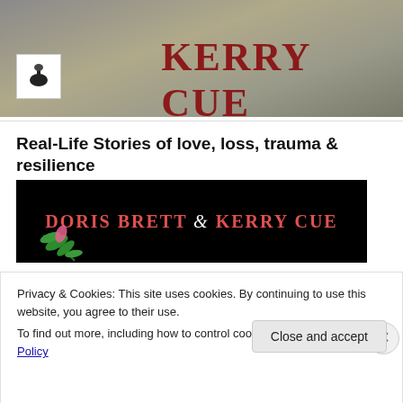[Figure (photo): Top banner image with stone/concrete background texture and 'Kerry Cue' text in large dark red uppercase serif font, with a small logo icon on the left]
Real-Life Stories of love, loss, trauma & resilience
[Figure (photo): Black banner image with 'DORIS BRETT & KERRY CUE' text in red/white bold serif font, and a fern plant illustration at the bottom left]
Privacy & Cookies: This site uses cookies. By continuing to use this website, you agree to their use.
To find out more, including how to control cookies, see here: Cookie Policy